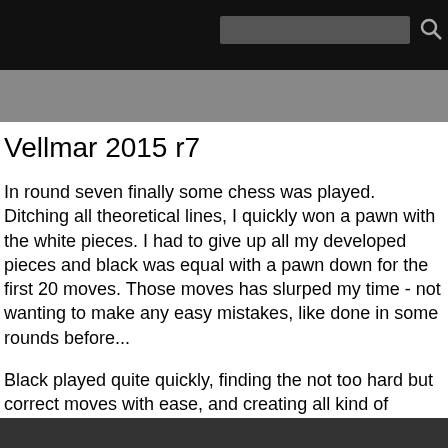Vellmar 2015 r7
In round seven finally some chess was played. Ditching all theoretical lines, I quickly won a pawn with the white pieces. I had to give up all my developed pieces and black was equal with a pawn down for the first 20 moves. Those moves has slurped my time - not wanting to make any easy mistakes, like done in some rounds before...
Black played quite quickly, finding the not too hard but correct moves with ease, and creating all kind of development problems for me.